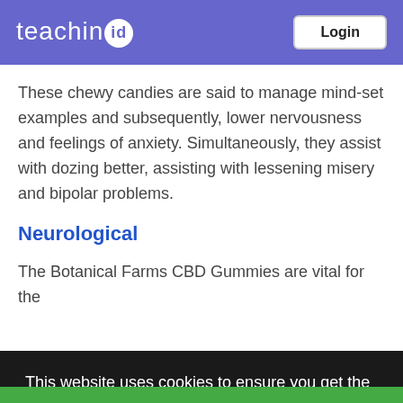teachin.id | Login
These chewy candies are said to manage mind-set examples and subsequently, lower nervousness and feelings of anxiety. Simultaneously, they assist with dozing better, assisting with lessening misery and bipolar problems.
Neurological
The Botanical Farms CBD Gummies are vital for the
This website uses cookies to ensure you get the best experience on our website
Learn More
Got It!